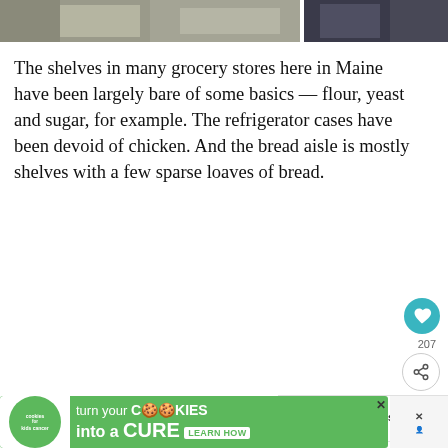[Figure (photo): Two food photos side by side at the top of the page — left shows baked goods on a light background, right shows a dark-colored dish or drink in a dark setting.]
The shelves in many grocery stores here in Maine have been largely bare of some basics — flour, yeast and sugar, for example. The refrigerator cases have been devoid of chicken. And the bread aisle is mostly shelves with a few sparse loaves of bread.
People have stocked their kitchens with essentials and are cooking more as they find themselves at home more often. So put those ingredients to good use?
[Figure (screenshot): Advertisement banner: 'cookies for kids cancer — turn your COOKIES into a CURE LEARN HOW' on a green background with a cookie icon. An X close button is visible.]